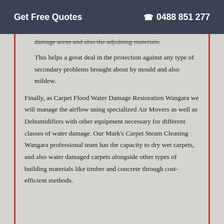Get Free Quotes  ☎ 0488 851 277
damage areas and also the adjoining materials.
This helps a great deal in the protection against any type of secondary problems brought about by mould and also mildew.
Finally, as Carpet Flood Water Damage Restoration Wangara we will manage the airflow using specialized Air Movers as well as Dehumidifiers with other equipment necessary for different classes of water damage. Our Mark's Carpet Steam Cleaning Wangara professional team has the capacity to dry wet carpets, and also water damaged carpets alongside other types of building materials like timber and concrete through cost-efficient methods.